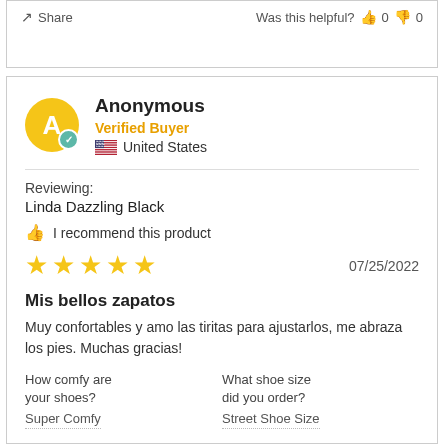Share   Was this helpful? 👍 0 👎 0
Anonymous
Verified Buyer
United States
Reviewing:
Linda Dazzling Black
I recommend this product
★★★★★   07/25/2022
Mis bellos zapatos
Muy confortables y amo las tiritas para ajustarlos, me abraza los pies. Muchas gracias!
How comfy are your shoes?
Super Comfy
What shoe size did you order?
Street Shoe Size